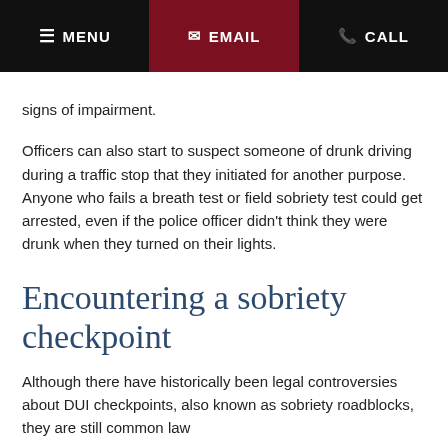MENU | EMAIL | CALL
signs of impairment.
Officers can also start to suspect someone of drunk driving during a traffic stop that they initiated for another purpose. Anyone who fails a breath test or field sobriety test could get arrested, even if the police officer didn't think they were drunk when they turned on their lights.
Encountering a sobriety checkpoint
Although there have historically been legal controversies about DUI checkpoints, also known as sobriety roadblocks, they are still common law